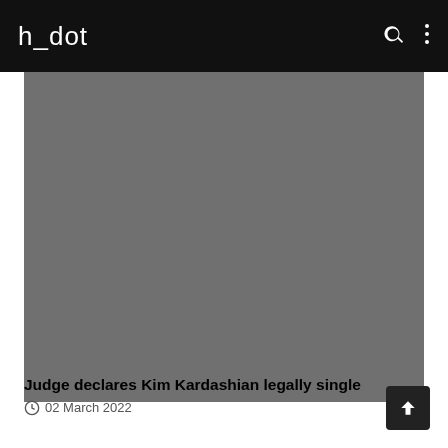h_dot
[Figure (photo): Large grey placeholder image area]
Judge declares Kim Kardashian legally single
02 March 2022